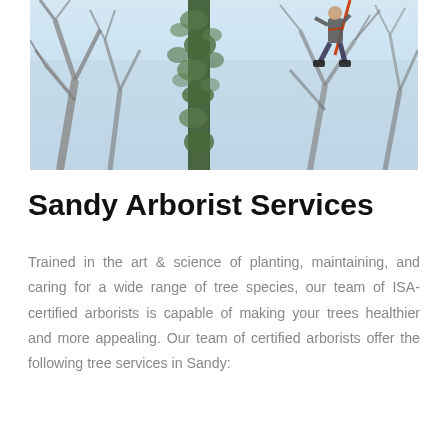[Figure (photo): An arborist climbing a tree with branches and ivy-covered trunk, blue sky background]
Sandy Arborist Services
Trained in the art & science of planting, maintaining, and caring for a wide range of tree species, our team of ISA-certified arborists is capable of making your trees healthier and more appealing. Our team of certified arborists offer the following tree services in Sandy: